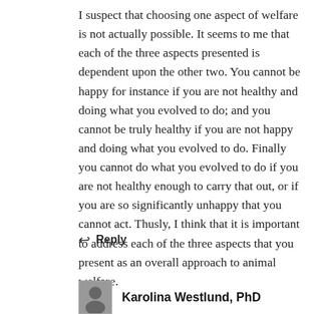I suspect that choosing one aspect of welfare is not actually possible. It seems to me that each of the three aspects presented is dependent upon the other two. You cannot be happy for instance if you are not healthy and doing what you evolved to do; and you cannot be truly healthy if you are not happy and doing what you evolved to do. Finally you cannot do what you evolved to do if you are not healthy enough to carry that out, or if you are so significantly unhappy that you cannot act. Thusly, I think that it is important to address each of the three aspects that you present as an overall approach to animal welfare.
↩ Reply
Karolina Westlund, PhD